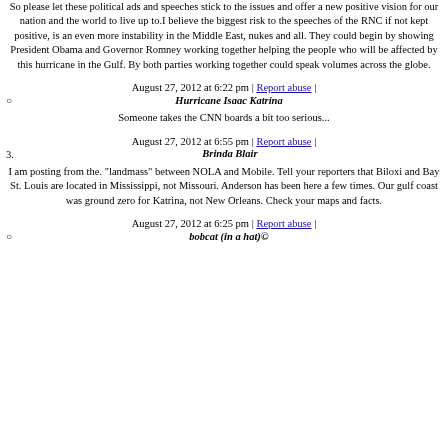So please let these political ads and speeches stick to the issues and offer a new positive vision for our nation and the world to live up to.I believe the biggest risk to the speeches of the RNC if not kept positive, is an even more instability in the Middle East, nukes and all. They could begin by showing President Obama and Governor Romney working together helping the people who will be affected by this hurricane in the Gulf. By both parties working together could speak volumes across the globe.
August 27, 2012 at 6:22 pm | Report abuse |
Hurricane Isaac Katrina
Someone takes the CNN boards a bit too serious...
August 27, 2012 at 6:55 pm | Report abuse |
3. Brinda Blair
I am posting from the. "landmass" between NOLA and Mobile. Tell your reporters that Biloxi and Bay St. Louis are located in Mississippi, not Missouri. Anderson has been here a few times. Our gulf coast was ground zero for Katrina, not New Orleans. Check your maps and facts.
August 27, 2012 at 6:25 pm | Report abuse |
bobcat (in a hat)©